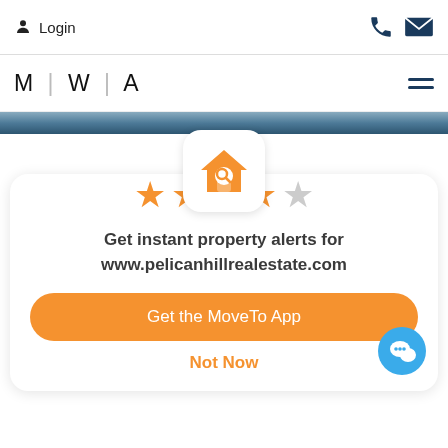Login
[Figure (screenshot): MWA real estate website navigation bar with logo and hamburger menu]
[Figure (illustration): Orange house search app icon with magnifying glass]
[Figure (other): 4 out of 5 orange star rating]
Get instant property alerts for www.pelicanhillrealestate.com
[Figure (other): Get the MoveTo App orange button]
Not Now